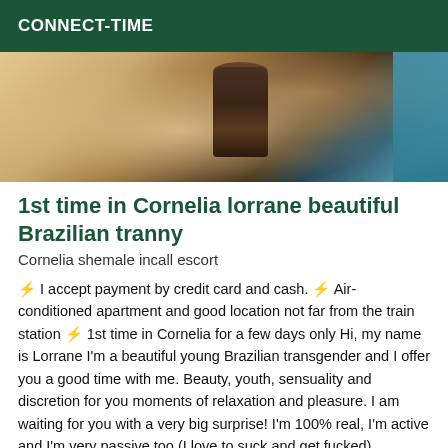CONNECT-TIME
[Figure (photo): Partial photo showing a floor with a cylindrical dark container/cup and a teal fabric or clothing item visible on the right edge]
1st time in Cornelia lorrane beautiful Brazilian tranny
Cornelia shemale incall escort
⚡ I accept payment by credit card and cash. ⚡ Air-conditioned apartment and good location not far from the train station ⚡ 1st time in Cornelia for a few days only Hi, my name is Lorrane I'm a beautiful young Brazilian transgender and I offer you a good time with me. Beauty, youth, sensuality and discretion for you moments of relaxation and pleasure. I am waiting for you with a very big surprise! I'm 100% real, I'm active and I'm very passive too (I love to suck and get fucked), appointments are always made 30 minutes in advance.